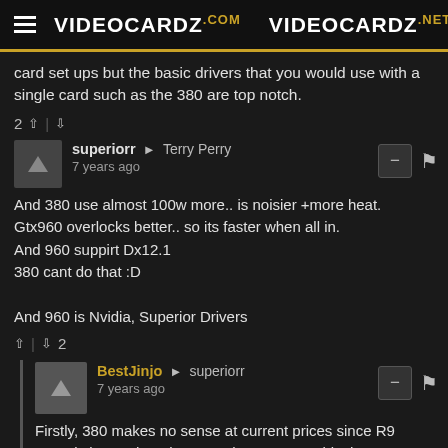VIDEOCARDZ.com  VIDEOCARDZ.net
card set ups but the basic drivers that you would use with a single card such as the 380 are top notch.
2 ↑ | ↓
superiorr → Terry Perry
7 years ago
And 380 use almost 100w more.. is noisier +more heat.
Gtx960 overlocks better.. so its faster when all in.
And 960 suppirt Dx12.1
380 cant do that :D

And 960 is Nvidia, Superior Drivers
↑ | ↓ 2
BestJinjo → superiorr
7 years ago
Firstly, 380 makes no sense at current prices since R9 280X is better than the 380. They cost roughly the same stateside.
http://www.newegg.com/Produ...